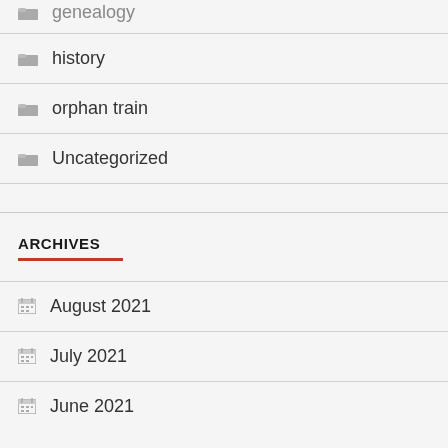genealogy (partial, top cut off)
history
orphan train
Uncategorized
ARCHIVES
August 2021
July 2021
June 2021